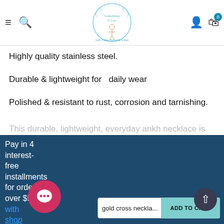Something U Luv - navigation header with logo, hamburger, search, account, cart icons
Highly quality stainless steel.
Durable & lightweight for  daily wear
Polished & resistant to rust, corrosion and tarnishing.
This durable, lightweight, everyday ankh necklace is
Pay in 4 interest-free installments for orders over $50 with shop Learn more